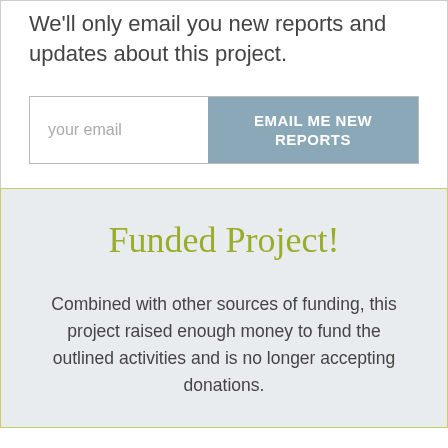We'll only email you new reports and updates about this project.
your email
EMAIL ME NEW REPORTS
Funded Project!
Combined with other sources of funding, this project raised enough money to fund the outlined activities and is no longer accepting donations.